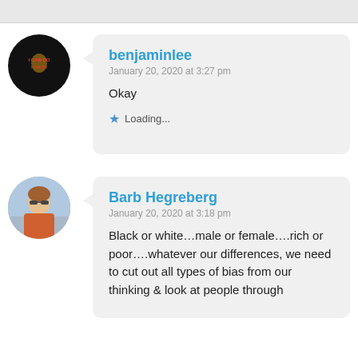[Figure (screenshot): Comment section showing two user comments. First comment by 'benjaminlee' posted January 20, 2020 at 3:27 pm saying 'Okay' with a loading indicator. Second comment by 'Barb Hegreberg' posted January 20, 2020 at 3:18 pm with text beginning 'Black or white…male or female….rich or poor….whatever our differences, we need to cut out all types of bias from our thinking & look at people through'.]